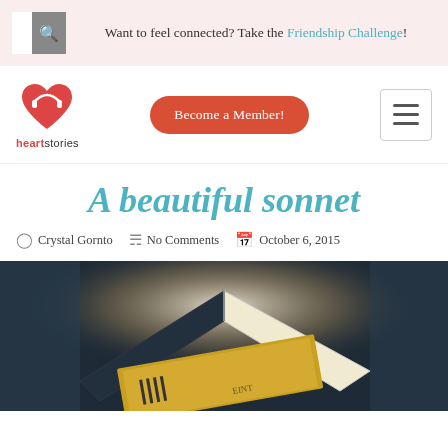Want to feel connected? Take the Friendship Challenge!
[Figure (logo): Heartstories logo — red heart with headphones icon above the text 'heartstories']
A beautiful sonnet
Crystal Gornto   No Comments   October 6, 2015
[Figure (photo): Photograph of open books with dramatic lighting, dark background, showing what appears to be a vintage illustrated book.]